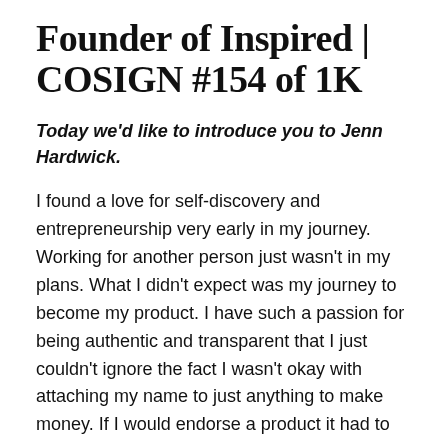Founder of Inspired | COSIGN #154 of 1K
Today we'd like to introduce you to Jenn Hardwick.
I found a love for self-discovery and entrepreneurship very early in my journey. Working for another person just wasn't in my plans. What I didn't expect was my journey to become my product. I have such a passion for being authentic and transparent that I just couldn't ignore the fact I wasn't okay with attaching my name to just anything to make money. If I would endorse a product it had to